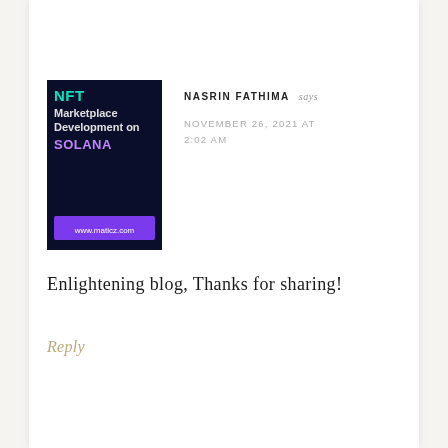[Figure (photo): NFT Marketplace Development on SOLANA advertisement image with dark blue background and purple URL bar showing www.maticz.com]
NASRIN FATHIMA says
NOVEMBER 26, 2021 AT 2:02 AM
Enlightening blog, Thanks for sharing!
Reply
[Figure (photo): Gray avatar placeholder image with white circle]
FAINA BEATRIZ says
NOVEMBER 26, 2021 AT 6:55 AM